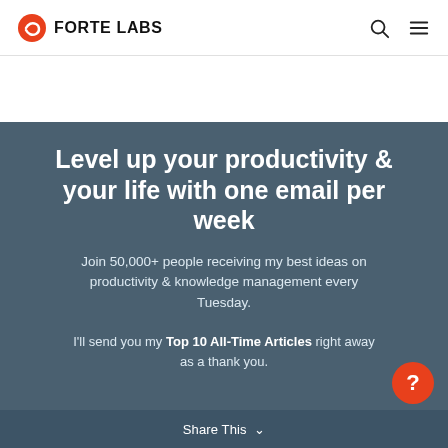FORTE LABS
Level up your productivity & your life with one email per week
Join 50,000+ people receiving my best ideas on productivity & knowledge management every Tuesday.
I'll send you my Top 10 All-Time Articles right away as a thank you.
Share This